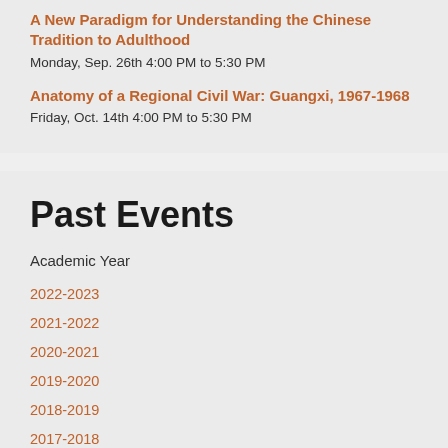A New Paradigm for Understanding the Chinese Tradition to Adulthood
Monday, Sep. 26th 4:00 PM to 5:30 PM
Anatomy of a Regional Civil War: Guangxi, 1967-1968
Friday, Oct. 14th 4:00 PM to 5:30 PM
Past Events
Academic Year
2022-2023
2021-2022
2020-2021
2019-2020
2018-2019
2017-2018